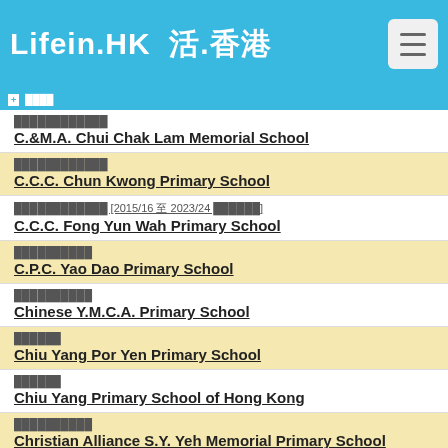Lifein.HK 活.香港
崇真書院附屬小學
C.&M.A. Chui Chak Lam Memorial School
中華基督教會春光學校
C.C.C. Chun Kwong Primary School
中華基督教會方潤華小學 [2015/16 至 2023/24 停辦學校]
C.C.C. Fong Yun Wah Primary School
中國佈道會尹呂烈女士學校
C.P.C. Yao Dao Primary School
中華基督教青年會小學
Chinese Y.M.C.A. Primary School
朝陽學校
Chiu Yang Por Yen Primary School
朝陽學校
Chiu Yang Primary School of Hong Kong
基督教宣道會宣基小學
Christian Alliance S.Y. Yeh Memorial Primary School
鐘聲學校
Chung Sing School
景嶺書院附屬小學